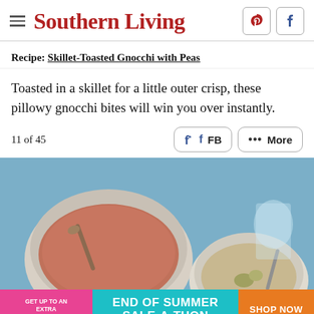Southern Living
Recipe: Skillet-Toasted Gnocchi with Peas
Toasted in a skillet for a little outer crisp, these pillowy gnocchi bites will win you over instantly.
11 of 45
[Figure (photo): Food photo showing bowls of soup/gnocchi dish on a blue background]
[Figure (infographic): Ad banner: GET UP TO AN EXTRA 50% OFF | END OF SUMMER SALE-A-THON | SHOP NOW]